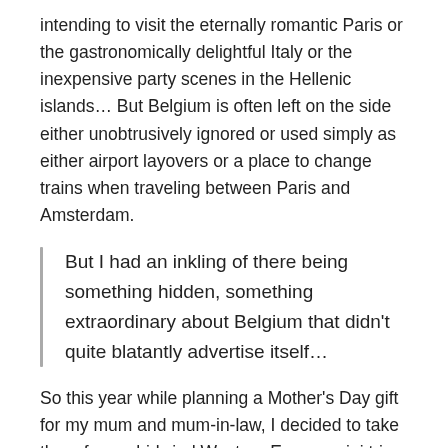intending to visit the eternally romantic Paris or the gastronomically delightful Italy or the inexpensive party scenes in the Hellenic islands… But Belgium is often left on the side either unobtrusively ignored or used simply as either airport layovers or a place to change trains when traveling between Paris and Amsterdam.
But I had an inkling of there being something hidden, something extraordinary about Belgium that didn't quite blatantly advertise itself…
So this year while planning a Mother's Day gift for my mum and mum-in-law, I decided to take them for a whirlwind Western Europe mini trip centered around Belgium… More about it in a different post 🙂